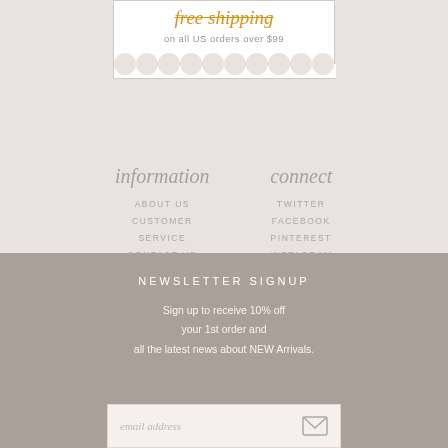[Figure (infographic): Promo box showing free shipping on all US orders over $99 with scallop bottom edge]
information
ABOUT US
CUSTOMER SERVICE
CONTACT US
connect
TWITTER
FACEBOOK
PINTEREST
INSTAGRAM
NEWSLETTER SIGNUP
Sign up to receive 10% off your 1st order and all the latest news about NEW Arrivals.
email address